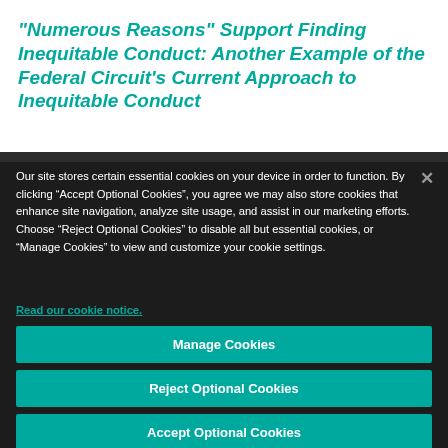“Numerous Reasons” Support Finding Inequitable Conduct: Another Example of the Federal Circuit’s Current Approach to Inequitable Conduct
Our site stores certain essential cookies on your device in order to function. By clicking “Accept Optional Cookies”, you agree we may also store cookies that enhance site navigation, analyze site usage, and assist in our marketing efforts. Choose “Reject Optional Cookies” to disable all but essential cookies, or “Manage Cookies” to view and customize your cookie settings.
Read our cookie notice.
Manage Cookies
Reject Optional Cookies
Accept Optional Cookies